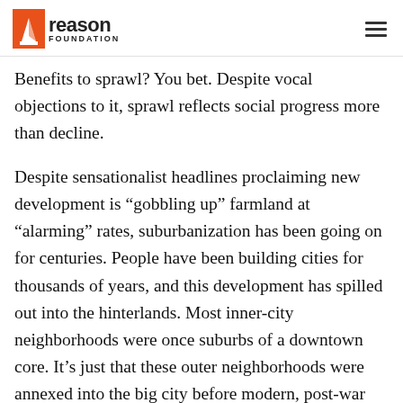Reason Foundation
Benefits to sprawl? You bet. Despite vocal objections to it, sprawl reflects social progress more than decline.
Despite sensationalist headlines proclaiming new development is “gobbling up” farmland at “alarming” rates, suburbanization has been going on for centuries. People have been building cities for thousands of years, and this development has spilled out into the hinterlands. Most inner-city neighborhoods were once suburbs of a downtown core. It’s just that these outer neighborhoods were annexed into the big city before modern, post-war suburbs decided to create their own, independent